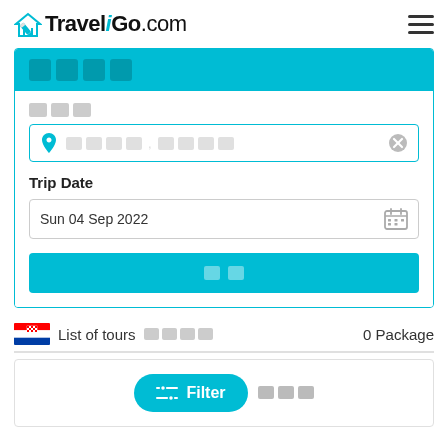TraveliGo.com
□□□□
□□□
□□□□, □□□□
Trip Date
Sun 04 Sep 2022
□□
List of tours □□□□    0 Package
[Figure (screenshot): Filter button with sliders icon and text 'Filter □□□']